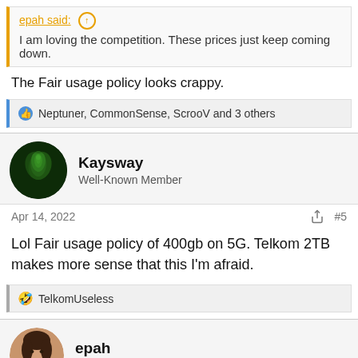epah said: (quote link with arrow)
I am loving the competition. These prices just keep coming down.
The Fair usage policy looks crappy.
👍 Neptuner, CommonSense, ScrooV and 3 others
Kaysway
Well-Known Member
Apr 14, 2022
#5
Lol Fair usage policy of 400gb on 5G. Telkom 2TB makes more sense that this I'm afraid.
🤣 TelkomUseless
epah
Executive Member